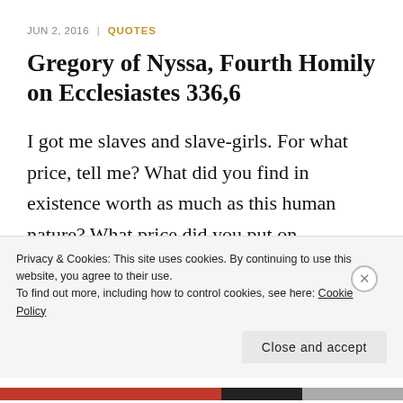JUN 2, 2016 | QUOTES
Gregory of Nyssa, Fourth Homily on Ecclesiastes 336,6
I got me slaves and slave-girls. For what price, tell me? What did you find in existence worth as much as this human nature? What price did you put on rationality? How many obols did you reckon the equivalent of the likeness of God?
Privacy & Cookies: This site uses cookies. By continuing to use this website, you agree to their use.
To find out more, including how to control cookies, see here: Cookie Policy